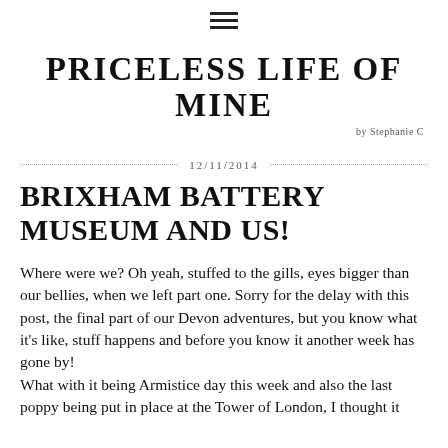≡
PRICELESS LIFE OF MINE by Stephanie C
12/11/2014
BRIXHAM BATTERY MUSEUM AND US!
Where were we? Oh yeah, stuffed to the gills, eyes bigger than our bellies, when we left part one. Sorry for the delay with this post, the final part of our Devon adventures, but you know what it's like, stuff happens and before you know it another week has gone by!
What with it being Armistice day this week and also the last poppy being put in place at the Tower of London, I thought it